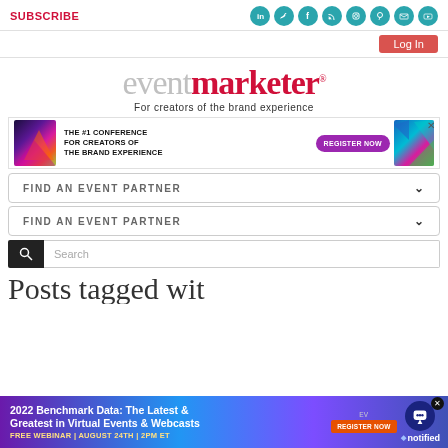SUBSCRIBE
[Figure (infographic): Social media icons: LinkedIn, Twitter, Facebook, RSS, Instagram, Pinterest, Mail, YouTube — teal circles]
[Figure (screenshot): Log In button — red/salmon]
[Figure (logo): eventmarketer logo — 'event' in grey, 'marketer' in red with registered mark]
For creators of the brand experience
[Figure (infographic): Ad banner: THE #1 CONFERENCE FOR CREATORS OF THE BRAND EXPERIENCE — REGISTER NOW button in purple, colorful geometric shapes]
[Figure (screenshot): FIND AN EVENT PARTNER dropdown box]
[Figure (screenshot): FIND AN EVENT PARTNER dropdown box (second)]
[Figure (screenshot): Search bar with magnifying glass icon]
Posts tagged wit
[Figure (infographic): Bottom advertisement: 2022 Benchmark Data: The Latest & Greatest in Virtual Events & Webcasts — FREE WEBINAR | AUGUST 24TH | 2PM ET — REGISTER NOW — notified logo]